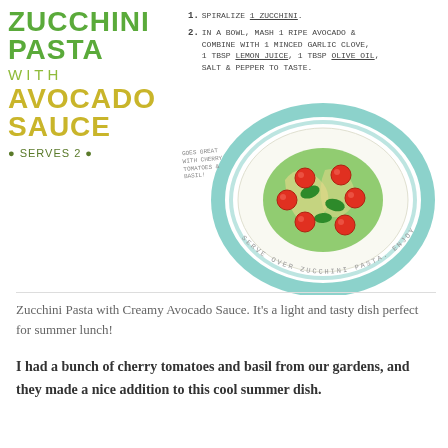Zucchini Pasta with Avocado Sauce (Serves 2)
1. Spiralize 1 zucchini.
2. In a bowl, mash 1 ripe avocado & combine with 1 minced garlic clove, 1 Tbsp lemon juice, 1 Tbsp olive oil, salt & pepper to taste.
[Figure (illustration): Hand-drawn illustration of a plate of zucchini pasta with avocado sauce, topped with cherry tomatoes and basil leaves, viewed from above, surrounded by teal circular plate outline]
Zucchini Pasta with Creamy Avocado Sauce. It's a light and tasty dish perfect for summer lunch!
I had a bunch of cherry tomatoes and basil from our gardens, and they made a nice addition to this cool summer dish.